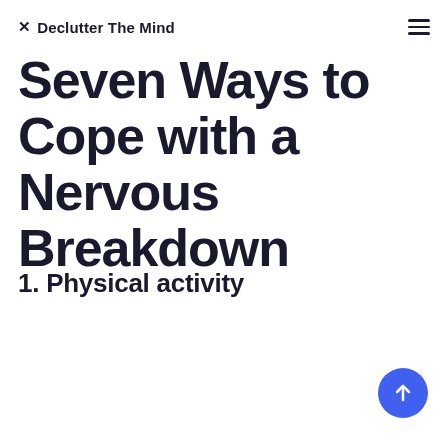✕ Declutter The Mind
Seven Ways to Cope with a Nervous Breakdown
1. Physical activity